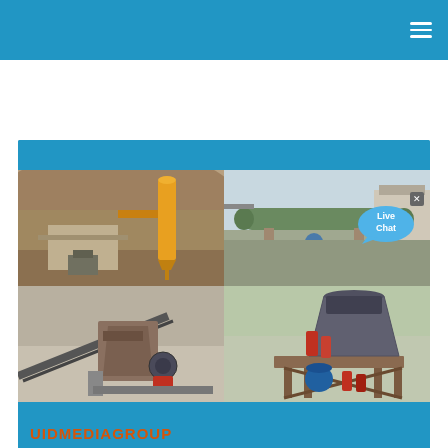Navigation bar with hamburger menu
[Figure (photo): 2x2 grid of industrial machinery photos: top-left shows a vertical mill/cyclone separator at a quarry site, top-right shows a large horizontal rotary kiln/dryer at an industrial facility, bottom-left shows a jaw crusher at a quarry, bottom-right shows a cone crusher on a metal frame]
Live Chat
UIDMEDIAGROUP